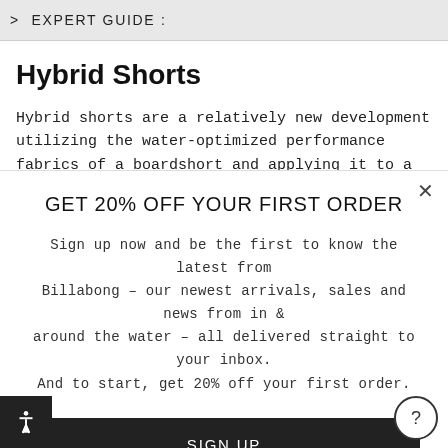> EXPERT GUIDE :
Hybrid Shorts
Hybrid shorts are a relatively new development utilizing the water-optimized performance fabrics of a boardshort and applying it to a walkshort. Just as functional in the water as it
GET 20% OFF YOUR FIRST ORDER
Sign up now and be the first to know the latest from Billabong – our newest arrivals, sales and news from in & around the water – all delivered straight to your inbox. And to start, get 20% off your first order.
SIGN UP